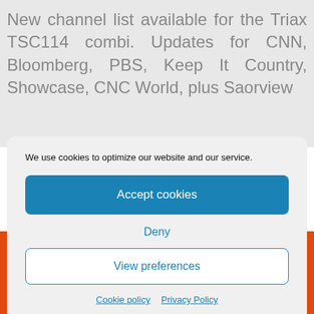New channel list available for the Triax TSC114 combi. Updates for CNN, Bloomberg, PBS, Keep It Country, Showcase, CNC World, plus Saorview
We use cookies to optimize our website and our service.
Accept cookies
Deny
View preferences
Cookie policy   Privacy Policy
056 777 1900 Dublin: 01 524 0626
Daltontv.ie Saorview Registered Retailer. Comtech Television Ltd T/A
Daltontv.ie © Copyright 2022